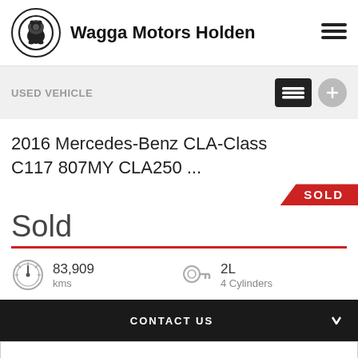Wagga Motors Holden
USED VEHICLE
2016 Mercedes-Benz CLA-Class C117 807MY CLA250 ...
SOLD
Sold
83,909 kms
2L 4 Cylinders
CONTACT US
FINANCE THIS VEHICLE